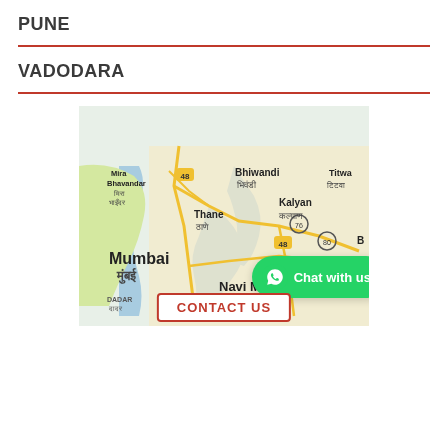PUNE
VADODARA
[Figure (map): Google Maps showing Mumbai metro region including Mira Bhavandar, Bhiwandi, Thane, Kalyan, Mumbai, Navi Mumbai, Dadar with road numbers 48, 76, 80]
Chat with us
CONTACT US